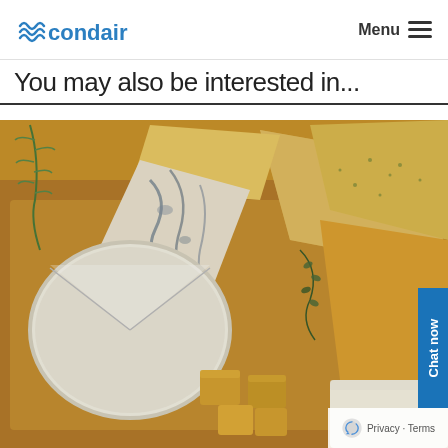condair — Menu
You may also be interested in...
[Figure (photo): A wooden board with various types of cheese including blue cheese, brie, hard aged cheese with herbs, and soft white cheeses, garnished with rosemary and thyme sprigs.]
Chat now
Privacy · Terms